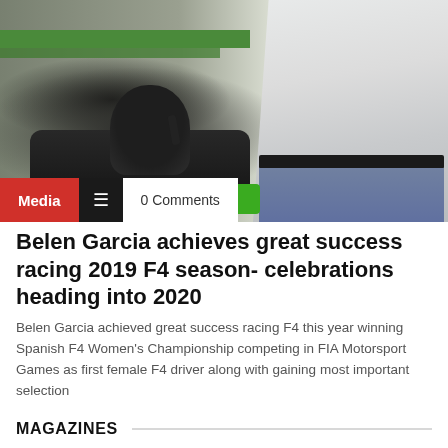[Figure (photo): Woman in white shirt standing next to a go-kart on a racing track, with green barriers in the background. Overlay shows Media tag, hamburger menu icon, and 0 Comments label.]
Belen Garcia achieves great success racing 2019 F4 season- celebrations heading into 2020
Belen Garcia achieved great success racing F4 this year winning Spanish F4 Women's Championship competing in FIA Motorsport Games as first female F4 driver along with gaining most important selection
MAGAZINES